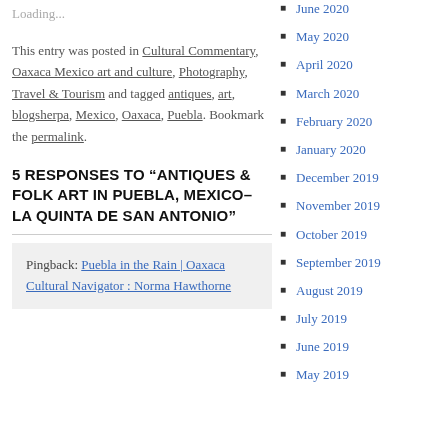Loading...
This entry was posted in Cultural Commentary, Oaxaca Mexico art and culture, Photography, Travel & Tourism and tagged antiques, art, blogsherpa, Mexico, Oaxaca, Puebla. Bookmark the permalink.
5 RESPONSES TO “ANTIQUES & FOLK ART IN PUEBLA, MEXICO–LA QUINTA DE SAN ANTONIO”
Pingback: Puebla in the Rain | Oaxaca Cultural Navigator : Norma Hawthorne
June 2020
May 2020
April 2020
March 2020
February 2020
January 2020
December 2019
November 2019
October 2019
September 2019
August 2019
July 2019
June 2019
May 2019